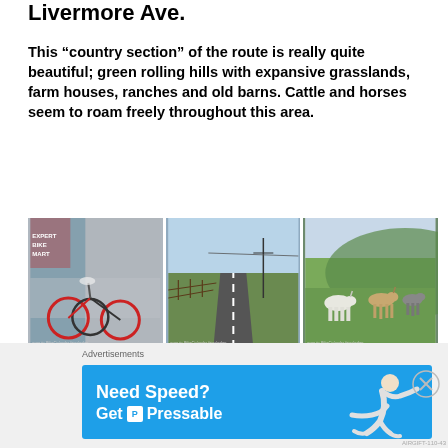Livermore Ave.
This “country section” of the route is really quite beautiful; green rolling hills with expansive grasslands, farm houses, ranches and old barns. Cattle and horses seem to roam freely throughout this area.
[Figure (photo): Three side-by-side photos: bicycles parked outside a building, a rural road stretching into the distance with power lines, and horses grazing on green rolling hills.]
The flat run on Manning, Carneal and
[Figure (infographic): Advertisement banner: Need Speed? Get Pressable. Blue background with a running figure graphic.]